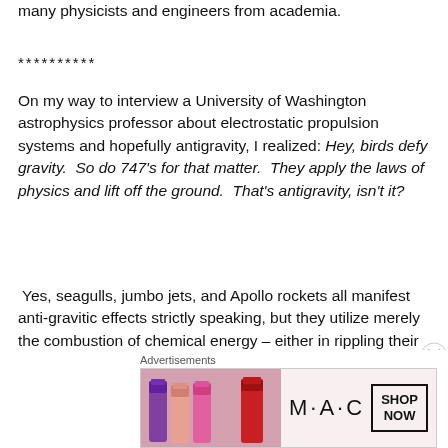many physicists and engineers from academia.
**********
On my way to interview a University of Washington astrophysics professor about electrostatic propulsion systems and hopefully antigravity, I realized: Hey, birds defy gravity.  So do 747’s for that matter.  They apply the laws of physics and lift off the ground.  That’s antigravity, isn’t it?
Yes, seagulls, jumbo jets, and Apollo rockets all manifest anti-gravitic effects strictly speaking, but they utilize merely the combustion of chemical energy – either in rippling their muscles or blasting kerosene out their engines.  However,
Advertisements
[Figure (photo): MAC cosmetics advertisement showing lipsticks with MAC brand text and SHOP NOW button]